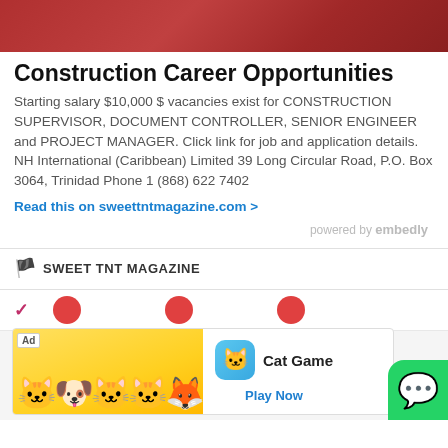[Figure (photo): Red/dark header banner image at top of page with dark reddish background]
Construction Career Opportunities
Starting salary $10,000 $ vacancies exist for CONSTRUCTION SUPERVISOR, DOCUMENT CONTROLLER, SENIOR ENGINEER and PROJECT MANAGER. Click link for job and application details. NH International (Caribbean) Limited 39 Long Circular Road, P.O. Box 3064, Trinidad Phone 1 (868) 622 7402
Read this on sweettntmagazine.com >
powered by embedly
SWEET TNT MAGAZINE
[Figure (screenshot): Bottom section showing a tab bar with checkmark and red dots, and an advertisement card for Cat Game app with cats image, app icon, name and Play Now link. WhatsApp button in bottom-right corner.]